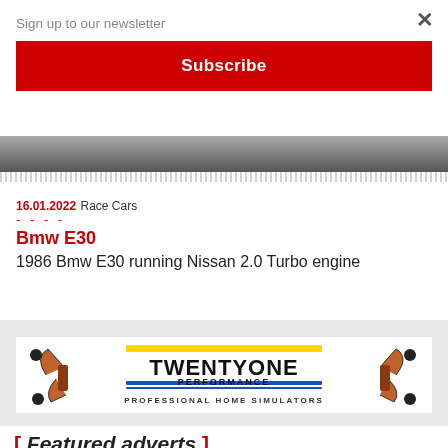Sign up to our newsletter
× (close)
Subscribe
[Figure (photo): Dark/grey automotive photo strip at top of article]
16.01.2022 Race Cars
----
Bmw E30
1986 Bmw E30 running Nissan 2.0 Turbo engine
[Figure (illustration): TwentyOne Performance - Professional Home Simulators advertisement banner showing racing simulator rigs in orange/black]
[ Featured adverts ]